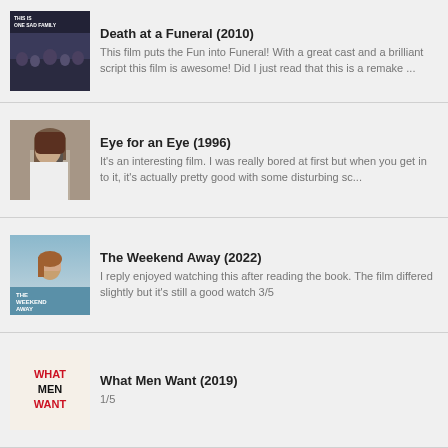Death at a Funeral (2010) — This film puts the Fun into Funeral! With a great cast and a brilliant script this film is awesome! Did I just read that this is a remake ...
Eye for an Eye (1996) — It's an interesting film. I was really bored at first but when you get in to it, it's actually pretty good with some disturbing sc...
The Weekend Away (2022) — I reply enjoyed watching this after reading the book. The film differed slightly but it's still a good watch 3/5
What Men Want (2019) — 1/5